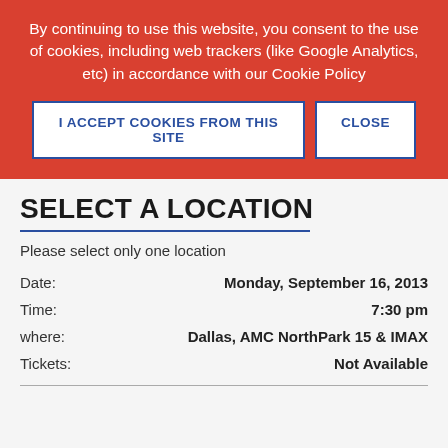By continuing to use this website, you consent to the use of cookies, including web trackers (like Google Analytics, etc) in accordance with our Cookie Policy
I ACCEPT COOKIES FROM THIS SITE
CLOSE
SELECT A LOCATION
Please select only one location
Date: Monday, September 16, 2013
Time: 7:30 pm
where: Dallas, AMC NorthPark 15 & IMAX
Tickets: Not Available